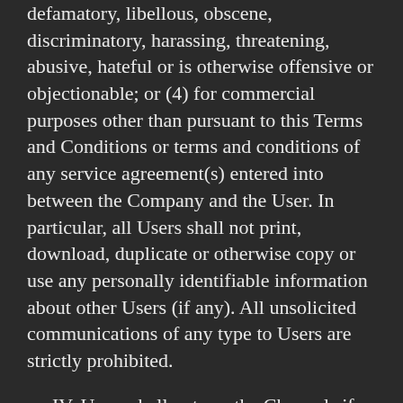defamatory, libellous, obscene, discriminatory, harassing, threatening, abusive, hateful or is otherwise offensive or objectionable; or (4) for commercial purposes other than pursuant to this Terms and Conditions or terms and conditions of any service agreement(s) entered into between the Company and the User. In particular, all Users shall not print, download, duplicate or otherwise copy or use any personally identifiable information about other Users (if any). All unsolicited communications of any type to Users are strictly prohibited.
IV. Users shall not use the Channels if they do not have legal capacity to form legally binding contracts.
V. Users shall not upload or post...